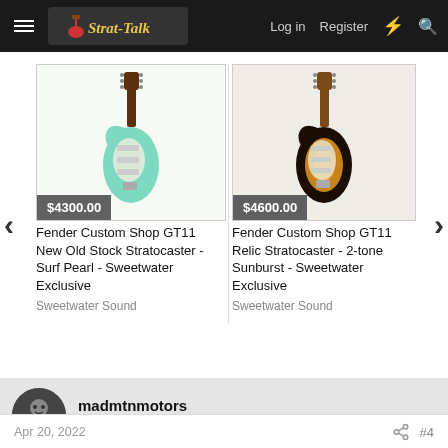Strat-Talk — Log in | Register
[Figure (photo): Fender Custom Shop GT11 New Old Stock Stratocaster in Surf Pearl (mint green), priced at $4300.00, listed by Sweetwater Sound]
Fender Custom Shop GT11 New Old Stock Stratocaster - Surf Pearl - Sweetwater Exclusive
Sweetwater Sound
[Figure (photo): Fender Custom Shop GT11 Relic Stratocaster in 2-tone Sunburst, priced at $4600.00, listed by Sweetwater Sound]
Fender Custom Shop GT11 Relic Stratocaster - 2-tone Sunburst - Sweetwater Exclusive
Sweetwater Sound
madmtnmotors
Just Blundering My Way Through  Silver Member
Apr 20, 2022  #4